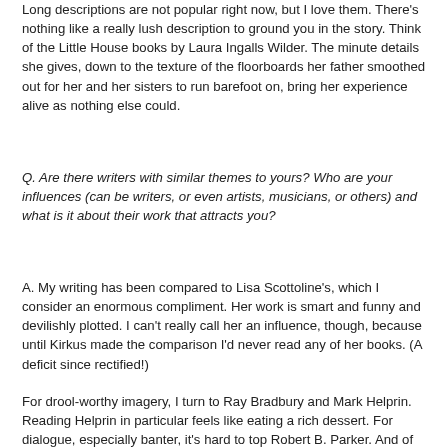Long descriptions are not popular right now, but I love them. There's nothing like a really lush description to ground you in the story. Think of the Little House books by Laura Ingalls Wilder. The minute details she gives, down to the texture of the floorboards her father smoothed out for her and her sisters to run barefoot on, bring her experience alive as nothing else could.
Q. Are there writers with similar themes to yours? Who are your influences (can be writers, or even artists, musicians, or others) and what is it about their work that attracts you?
A. My writing has been compared to Lisa Scottoline's, which I consider an enormous compliment. Her work is smart and funny and devilishly plotted. I can't really call her an influence, though, because until Kirkus made the comparison I'd never read any of her books. (A deficit since rectified!)
For drool-worthy imagery, I turn to Ray Bradbury and Mark Helprin. Reading Helprin in particular feels like eating a rich dessert. For dialogue, especially banter, it's hard to top Robert B. Parker. And of course I worship regularly at the